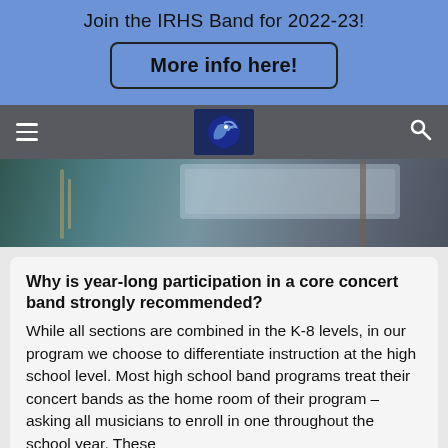Join the IRHS Band for 2022-23!
More info here!
[Figure (screenshot): Navigation bar with hamburger menu icon on left, school logo (dark blue square with bird/dolphin icon) in center, and search icon on right, against dark semi-transparent background]
[Figure (photo): Hero image showing a band student playing an instrument, with music stand visible, outdoor setting]
Why is year-long participation in a core concert band strongly recommended?
While all sections are combined in the K-8 levels, in our program we choose to differentiate instruction at the high school level. Most high school band programs treat their concert bands as the home room of their program – asking all musicians to enroll in one throughout the school year. These